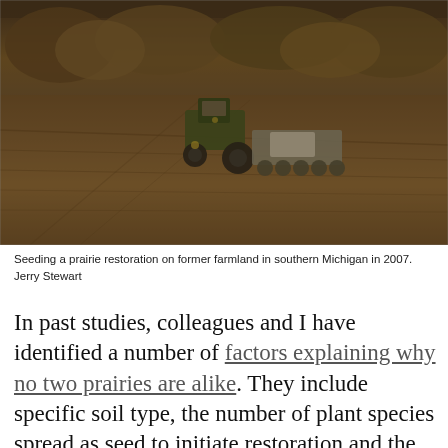[Figure (photo): A tractor pulling seeding equipment across a bare field for prairie restoration on former farmland in southern Michigan, 2007. Trees with autumn foliage visible in background.]
Seeding a prairie restoration on former farmland in southern Michigan in 2007. Jerry Stewart
In past studies, colleagues and I have identified a number of factors explaining why no two prairies are alike. They include specific soil type, the number of plant species spread as seed to initiate restoration and the frequency of prescribed fires